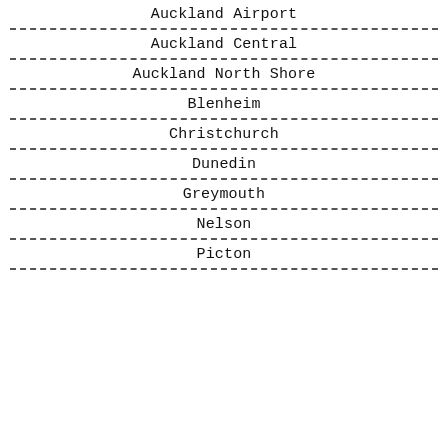Auckland Airport
Auckland Central
Auckland North Shore
Blenheim
Christchurch
Dunedin
Greymouth
Nelson
Picton